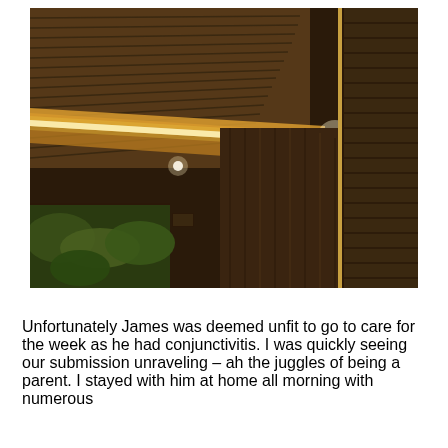[Figure (photo): Interior architectural photo showing a modern corridor or hallway with horizontal wood slat ceiling, a continuous LED strip light running along the ceiling edge glowing warm amber/yellow, recessed spotlights, a dark wood wall panel, a louvered shutter panel on the right, and a glimpse of green trees through a window at the bottom left.]
Unfortunately James was deemed unfit to go to care for the week as he had conjunctivitis.  I was quickly seeing our submission unraveling – ah the juggles of being a parent. I stayed with him at home all morning with numerous